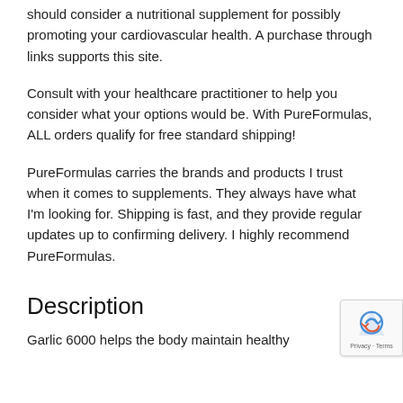should consider a nutritional supplement for possibly promoting your cardiovascular health. A purchase through links supports this site.
Consult with your healthcare practitioner to help you consider what your options would be. With PureFormulas, ALL orders qualify for free standard shipping!
PureFormulas carries the brands and products I trust when it comes to supplements. They always have what I'm looking for. Shipping is fast, and they provide regular updates up to confirming delivery. I highly recommend PureFormulas.
Description
Garlic 6000 helps the body maintain healthy